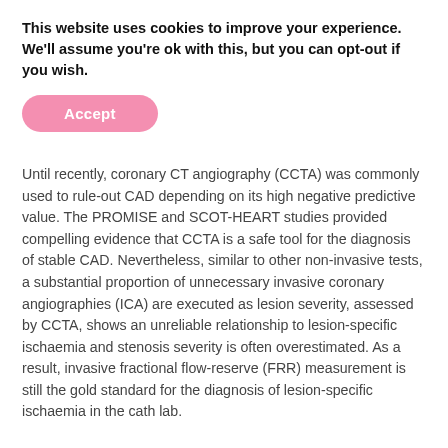This website uses cookies to improve your experience. We'll assume you're ok with this, but you can opt-out if you wish.
[Figure (other): Pink rounded button labeled 'Accept']
Until recently, coronary CT angiography (CCTA) was commonly used to rule-out CAD depending on its high negative predictive value. The PROMISE and SCOT-HEART studies provided compelling evidence that CCTA is a safe tool for the diagnosis of stable CAD. Nevertheless, similar to other non-invasive tests, a substantial proportion of unnecessary invasive coronary angiographies (ICA) are executed as lesion severity, assessed by CCTA, shows an unreliable relationship to lesion-specific ischaemia and stenosis severity is often overestimated. As a result, invasive fractional flow-reserve (FRR) measurement is still the gold standard for the diagnosis of lesion-specific ischaemia in the cath lab.